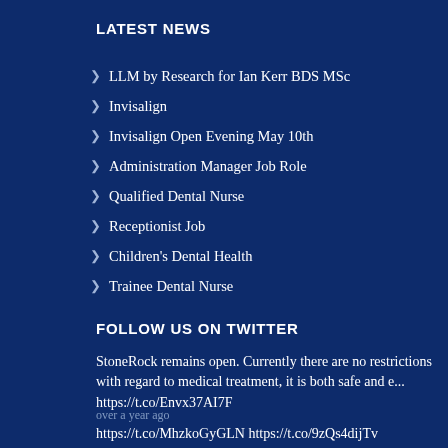LATEST NEWS
LLM by Research for Ian Kerr BDS MSc
Invisalign
Invisalign Open Evening May 10th
Administration Manager Job Role
Qualified Dental Nurse
Receptionist Job
Children's Dental Health
Trainee Dental Nurse
FOLLOW US ON TWITTER
StoneRock remains open. Currently there are no restrictions with regard to medical treatment, it is both safe and e... https://t.co/Envx37AI7F
over a year ago
https://t.co/MhzkoGyGLN https://t.co/9zQs4dijTv
over a year ago